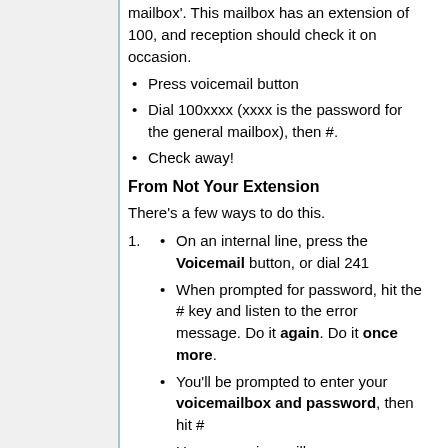mailbox'. This mailbox has an extension of 100, and reception should check it on occasion.
Press voicemail button
Dial 100xxxx (xxxx is the password for the general mailbox), then #.
Check away!
From Not Your Extension
There's a few ways to do this.
On an internal line, press the Voicemail button, or dial 241
When prompted for password, hit the # key and listen to the error message. Do it again. Do it once more.
You'll be prompted to enter your voicemailbox and password, then hit #
Use your voicemailbox